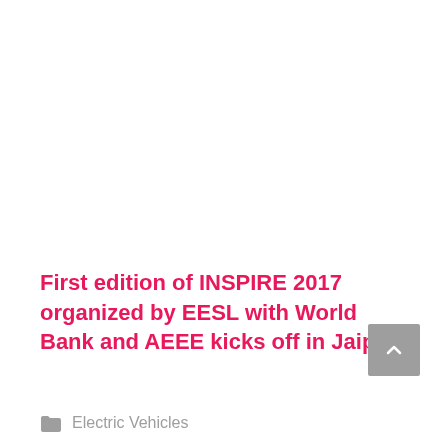First edition of INSPIRE 2017 organized by EESL with World Bank and AEEE kicks off in Jaipur
Electric Vehicles